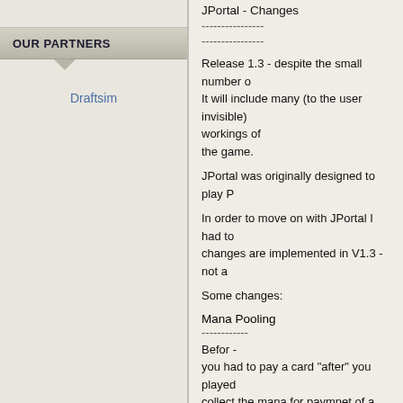OUR PARTNERS
Draftsim
JPortal - Changes
----------------
----------------
Release 1.3 - despite the small number o
It will include many (to the user invisible)
workings of
the game.
JPortal was originally designed to play P
In order to move on with JPortal I had to
changes are implemented in V1.3 - not a
Some changes:
Mana Pooling
------------
Befor -
you had to pay a card "after" you played
collect the mana for paymnet of a card A
Now -
You have to have the mana in the pool b
pay the playing out.